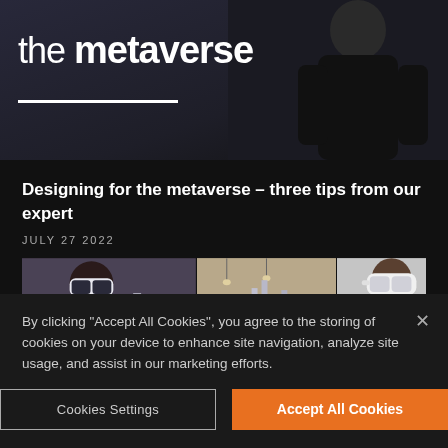[Figure (photo): Partial hero image showing 'the metaverse' text in white bold font with a white underline bar, dark background with person silhouette]
Designing for the metaverse – three tips from our expert
JULY 27 2022
[Figure (photo): Two-panel image of people wearing VR/AR headsets in an indoor environment]
By clicking "Accept All Cookies", you agree to the storing of cookies on your device to enhance site navigation, analyze site usage, and assist in our marketing efforts.
Cookies Settings
Accept All Cookies